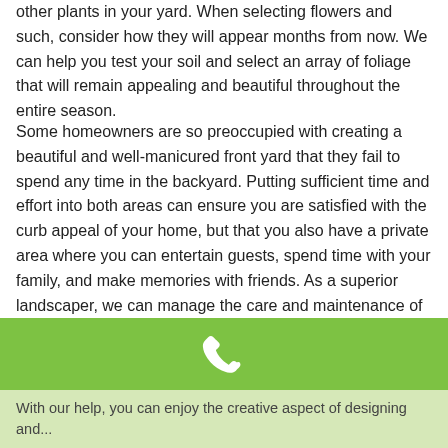other plants in your yard. When selecting flowers and such, consider how they will appear months from now. We can help you test your soil and select an array of foliage that will remain appealing and beautiful throughout the entire season.
Some homeowners are so preoccupied with creating a beautiful and well-manicured front yard that they fail to spend any time in the backyard. Putting sufficient time and effort into both areas can ensure you are satisfied with the curb appeal of your home, but that you also have a private area where you can entertain guests, spend time with your family, and make memories with friends. As a superior landscaper, we can manage the care and maintenance of both your front yard and your backyard to ensure both get the proper care they need.
[Figure (other): Green banner with white phone/call icon in center]
With our help, you can enjoy the creative aspect of designing and...